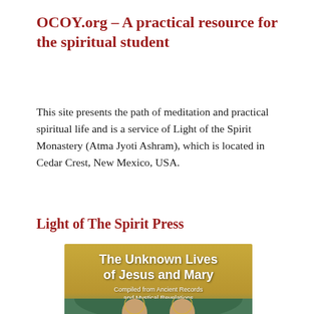OCOY.org – A practical resource for the spiritual student
This site presents the path of meditation and practical spiritual life and is a service of Light of the Spirit Monastery (Atma Jyoti Ashram), which is located in Cedar Crest, New Mexico, USA.
Light of The Spirit Press
[Figure (illustration): Book cover for 'The Unknown Lives of Jesus and Mary – Compiled from Ancient Records and Mystical Revelations' with golden background and religious iconography showing two figures at the bottom.]